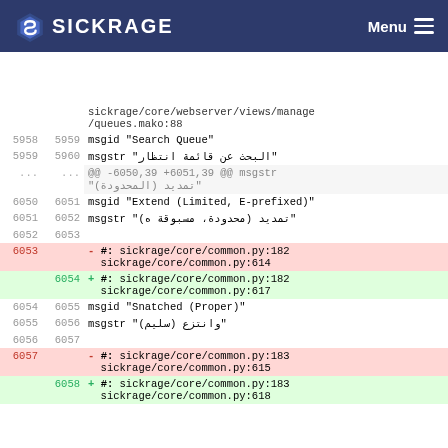SICKRAGE  Menu
| old ln | new ln | code |
| --- | --- | --- |
|  |  | sickrage/core/webserver/views/manage/queues.mako:88 |
| 5958 | 5959 | msgid "Search Queue" |
| 5959 | 5960 | msgstr "البحث عن قائمة انتظار" |
| ... | ... | @@ -6050,39 +6051,39 @@ msgstr "تمديد (المحدودة)" |
| 6050 | 6051 | msgid "Extend (Limited, E-prefixed)" |
| 6051 | 6052 | msgstr "تمديد (محدودة، مسبوقة ه)" |
| 6052 | 6053 |  |
| 6053 |  | - #: sickrage/core/common.py:182 sickrage/core/common.py:614 |
|  | 6054 | + #: sickrage/core/common.py:182 sickrage/core/common.py:617 |
| 6054 | 6055 | msgid "Snatched (Proper)" |
| 6055 | 6056 | msgstr "وانتزع (سليم)" |
| 6056 | 6057 |  |
| 6057 |  | - #: sickrage/core/common.py:183 sickrage/core/common.py:615 |
|  | 6058 | + #: sickrage/core/common.py:183 sickrage/core/common.py:618 |